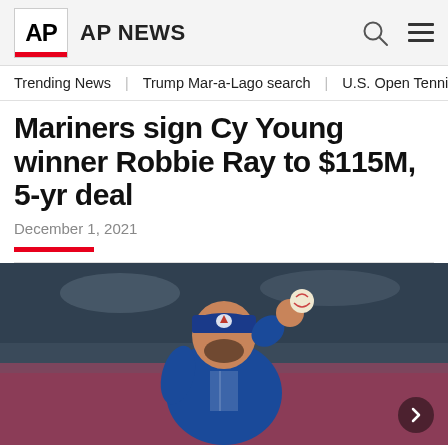AP NEWS
Trending News | Trump Mar-a-Lago search | U.S. Open Tennis
Mariners sign Cy Young winner Robbie Ray to $115M, 5-yr deal
December 1, 2021
[Figure (photo): Baseball pitcher in blue Toronto Blue Jays uniform mid-wind-up throwing a ball]